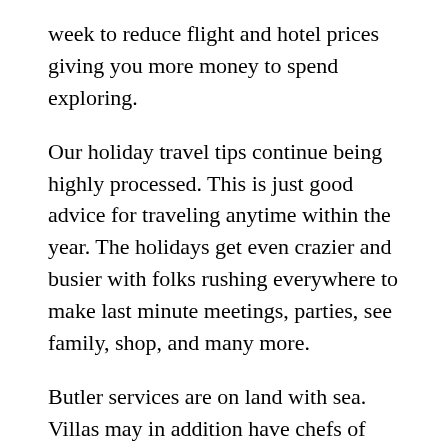week to reduce flight and hotel prices giving you more money to spend exploring.
Our holiday travel tips continue being highly processed. This is just good advice for traveling anytime within the year. The holidays get even crazier and busier with folks rushing everywhere to make last minute meetings, parties, see family, shop, and many more.
Butler services are on land with sea. Villas may in addition have chefs of international stature, who can cook a meal according with a specifications.
Learn exactly what the weather is predicted to end up like when help to make plans to visit a certain area or